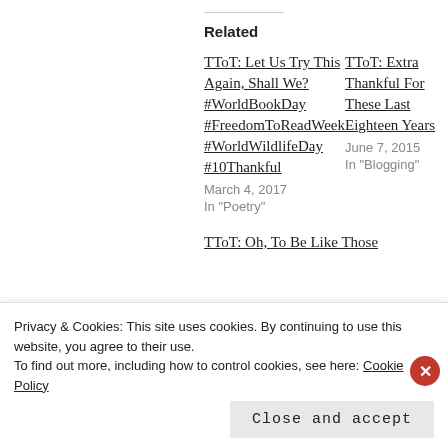Related
TToT: Let Us Try This Again, Shall We? #WorldBookDay #FreedomToReadWeek #WorldWildlifeDay #10Thankful
March 4, 2017
In "Poetry"
TToT: Extra Thankful For These Last Eighteen Years
June 7, 2015
In "Blogging"
TToT: Oh, To Be Like Those
Privacy & Cookies: This site uses cookies. By continuing to use this website, you agree to their use.
To find out more, including how to control cookies, see here: Cookie Policy
Close and accept